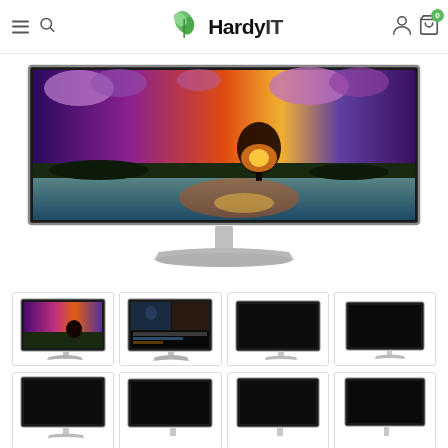HardyIT – navigation header with hamburger menu, search, logo, user icon, cart (0)
[Figure (photo): Large LG ultra-wide monitor displaying a vivid sunset/purple sky landscape scene, on a silver stand, front view]
[Figure (photo): Thumbnail 1: LG ultra-wide monitor with colorful display, white stand, front view]
[Figure (photo): Thumbnail 2: LG ultra-wide monitor with dark video editing content on screen, silver stand]
[Figure (photo): Thumbnail 3: LG ultra-wide monitor with black screen, silver stand]
[Figure (photo): Thumbnail 4: LG ultra-wide monitor with black screen, silver stand, slight angle]
[Figure (photo): Thumbnail 5 (bottom row): LG ultra-wide monitor, partially visible]
[Figure (photo): Thumbnail 6 (bottom row): LG ultra-wide monitor, partially visible]
[Figure (photo): Thumbnail 7 (bottom row): LG ultra-wide monitor, partially visible]
[Figure (photo): Thumbnail 8 (bottom row): LG ultra-wide monitor, partially visible]